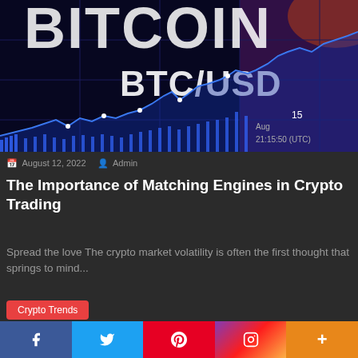[Figure (photo): BTC/USD cryptocurrency trading chart on a screen showing blue candlestick/line chart data with price labels showing 15 and timestamp 21:15:50 (UTC)]
August 12, 2022  Admin
The Importance of Matching Engines in Crypto Trading
Spread the love The crypto market volatility is often the first thought that springs to mind...
Crypto Trends
[Figure (photo): Hand holding a smartphone displaying the Solana (SOL) cryptocurrency logo — a striped circle with teal, green, and pink gradient bars on a dark bokeh background]